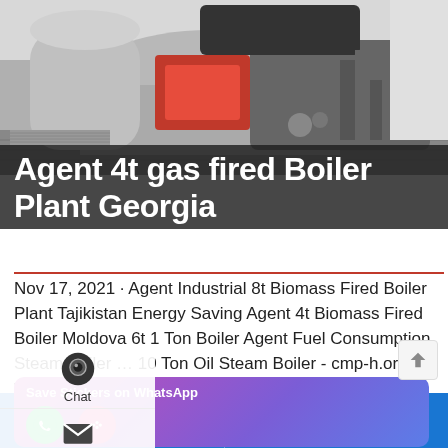[Figure (photo): Industrial gas-fired boiler plant equipment in a facility — large cylindrical boiler with red burner unit, associated piping and machinery on concrete floor inside a building]
Agent 4t gas fired Boiler Plant Georgia
Nov 17, 2021 · Agent Industrial 8t Biomass Fired Boiler Plant Tajikistan Energy Saving Agent 4t Biomass Fired Boiler Moldova 6t 1 Ton Boiler Agent Fuel Consumption Steam Boiler … 10 Ton Oil Steam Boiler - cmp-h.org.uk. WNS 1t 2t 3t 4t 6t 8t 10t natural gas light diesel oil fired steam boiler . smal machine for . learn
[Figure (screenshot): WhatsApp sticker saver promotional banner with phone and emoji icons on purple-pink gradient background]
Leave Message | OnlineChat